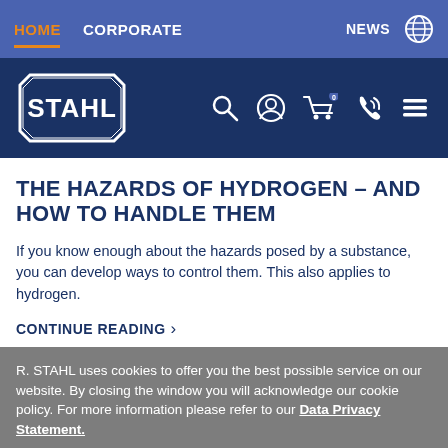HOME  CORPORATE  NEWS
[Figure (logo): STAHL company logo on dark blue navbar with search, user, cart, phone, and menu icons]
THE HAZARDS OF HYDROGEN – AND HOW TO HANDLE THEM
If you know enough about the hazards posed by a substance, you can develop ways to control them. This also applies to hydrogen.
CONTINUE READING >
R. STAHL uses cookies to offer you the best possible service on our website. By closing the window you will acknowledge our cookie policy. For more information please refer to our Data Privacy Statement.